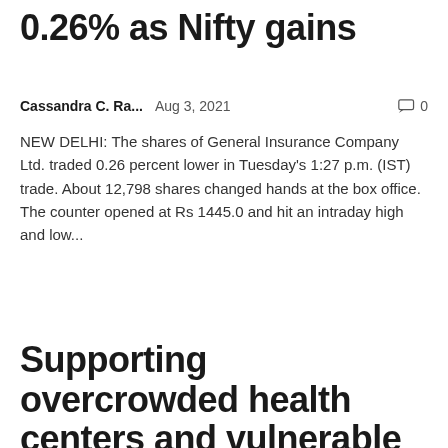0.26% as Nifty gains
Cassandra C. Ra...   Aug 3, 2021   💬 0
NEW DELHI: The shares of General Insurance Company Ltd. traded 0.26 percent lower in Tuesday's 1:27 p.m. (IST) trade. About 12,798 shares changed hands at the box office. The counter opened at Rs 1445.0 and hit an intraday high and low...
Supporting overcrowded health centers and vulnerable communities in the aftermath